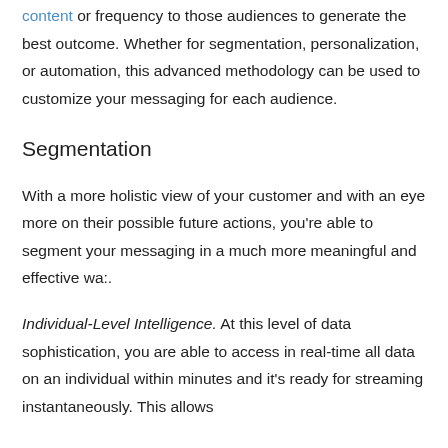content or frequency to those audiences to generate the best outcome. Whether for segmentation, personalization, or automation, this advanced methodology can be used to customize your messaging for each audience.
Segmentation
With a more holistic view of your customer and with an eye more on their possible future actions, you're able to segment your messaging in a much more meaningful and effective wa:.
Individual-Level Intelligence. At this level of data sophistication, you are able to access in real-time all data on an individual within minutes and it's ready for streaming instantaneously. This allows for individual segmentation, but the continuo...